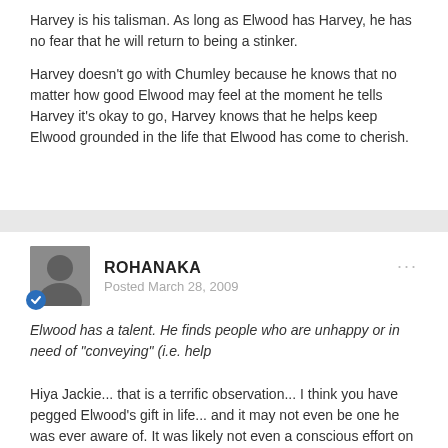Harvey is his talisman. As long as Elwood has Harvey, he has no fear that he will return to being a stinker.
Harvey doesn't go with Chumley because he knows that no matter how good Elwood may feel at the moment he tells Harvey it's okay to go, Harvey knows that he helps keep Elwood grounded in the life that Elwood has come to cherish.
ROHANAKA
Posted March 28, 2009
Elwood has a talent. He finds people who are unhappy or in need of "conveying" (i.e. help
Hiya Jackie... that is a terrific observation... I think you have pegged Elwood's gift in life... and it may not even be one he was ever aware of. It was likely not even a conscious effort on his part... nice "no sense" posting, there youngster...)